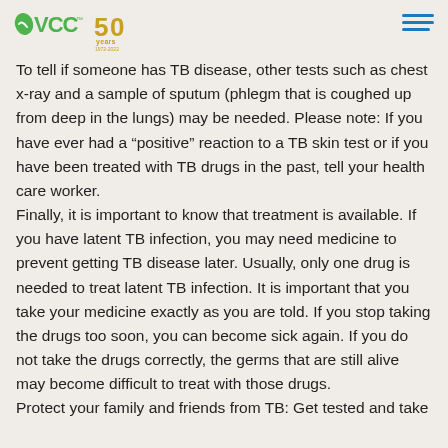VCC 50 Years logo and hamburger menu
To tell if someone has TB disease, other tests such as chest x-ray and a sample of sputum (phlegm that is coughed up from deep in the lungs) may be needed. Please note: If you have ever had a “positive” reaction to a TB skin test or if you have been treated with TB drugs in the past, tell your health care worker.
Finally, it is important to know that treatment is available. If you have latent TB infection, you may need medicine to prevent getting TB disease later. Usually, only one drug is needed to treat latent TB infection. It is important that you take your medicine exactly as you are told. If you stop taking the drugs too soon, you can become sick again. If you do not take the drugs correctly, the germs that are still alive may become difficult to treat with those drugs.
Protect your family and friends from TB: Get tested and take